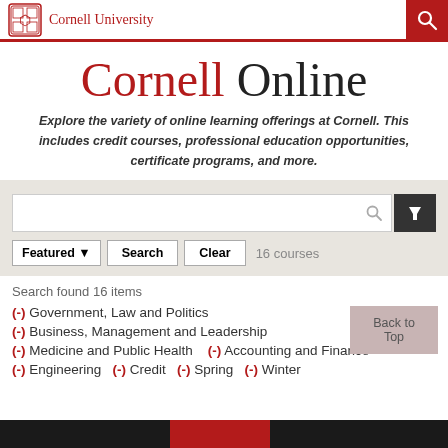Cornell University
Cornell Online
Explore the variety of online learning offerings at Cornell. This includes credit courses, professional education opportunities, certificate programs, and more.
Featured ▾  Search  Clear  16 courses
Search found 16 items
(-) Government, Law and Politics
(-) Business, Management and Leadership
(-) Medicine and Public Health   (-) Accounting and Finance
(-) Engineering  (-) Credit  (-) Spring  (-) Winter